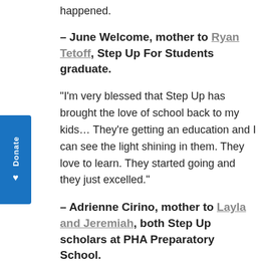happened.
– June Welcome, mother to Ryan Tetoff, Step Up For Students graduate.
“I’m very blessed that Step Up has brought the love of school back to my kids… They’re getting an education and I can see the light shining in them. They love to learn. They started going and they just excelled.”
– Adrienne Cirino, mother to Layla and Jeremiah, both Step Up scholars at PHA Preparatory School.
“I don’t think my mom and I could afford my private school on our own.” Miguel, also